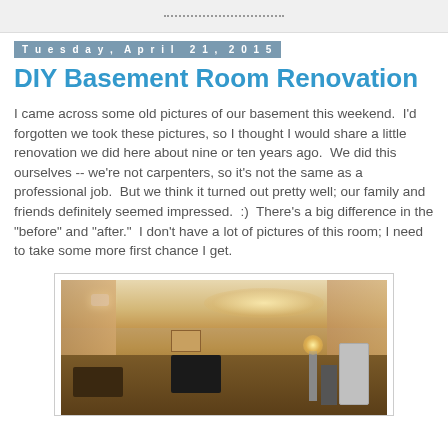Tuesday, April 21, 2015
DIY Basement Room Renovation
I came across some old pictures of our basement this weekend.  I'd forgotten we took these pictures, so I thought I would share a little renovation we did here about nine or ten years ago.  We did this ourselves -- we're not carpenters, so it's not the same as a professional job.  But we think it turned out pretty well; our family and friends definitely seemed impressed.  :)  There's a big difference in the "before" and "after."  I don't have a lot of pictures of this room; I need to take some more first chance I get.
[Figure (photo): Interior photo of a renovated basement room showing warm lighting, furniture including a TV stand/entertainment center, lamp, and what appears to be a refrigerator on the right side. The ceiling has a curved/barrel vault shape with recessed lighting.]